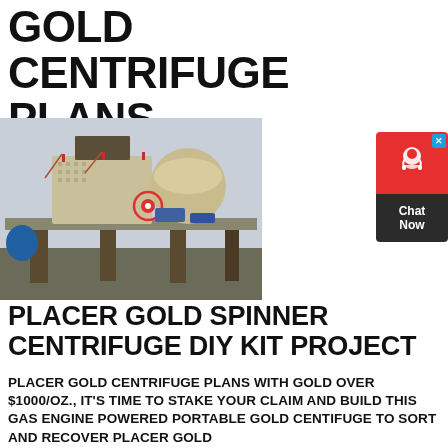GOLD CENTRIFUGE PLANS
[Figure (photo): Industrial gold centrifuge / mining equipment setup on a large elevated platform outdoors. Heavy machinery with cylindrical and rectangular components, red circular element visible at center, set against a hazy sky background.]
[Figure (infographic): Chat Now widget with red headset icon on red background and dark bottom section saying Chat Now]
PLACER GOLD SPINNER CENTRIFUGE DIY KIT PROJECT
PLACER GOLD CENTRIFUGE PLANS WITH GOLD OVER $1000/OZ., IT'S TIME TO STAKE YOUR CLAIM AND BUILD THIS GAS ENGINE POWERED PORTABLE GOLD CENTIFUGE TO SORT AND RECOVER PLACER GOLD